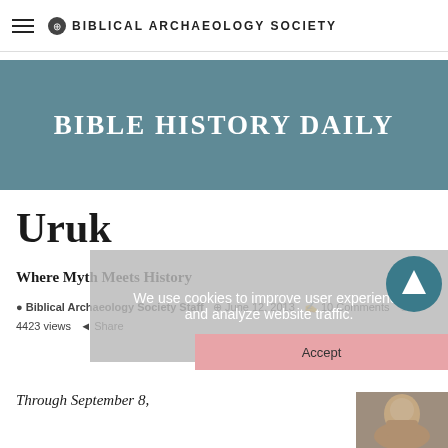BIBLICAL ARCHAEOLOGY SOCIETY
BIBLE HISTORY DAILY
Uruk
Where Myth Meets History
Biblical Archaeology Society Staff  June 12, 2013  10 Comments  4423 views  Share
We use cookies to improve user experience and analyze website traffic.
Through September 8,